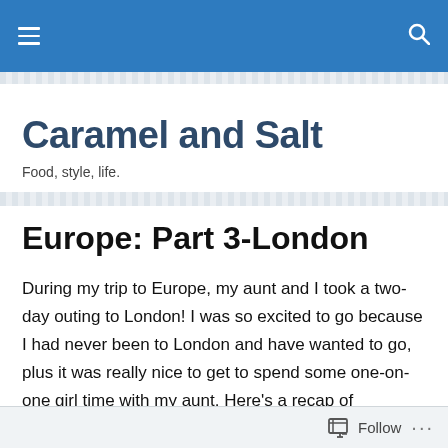Caramel and Salt — navigation bar
Caramel and Salt
Food, style, life.
Europe: Part 3-London
During my trip to Europe, my aunt and I took a two-day outing to London! I was so excited to go because I had never been to London and have wanted to go, plus it was really nice to get to spend some one-on-one girl time with my aunt. Here's a recap of everything we did! (I also might have an upcoming post just about the clothes and
Follow